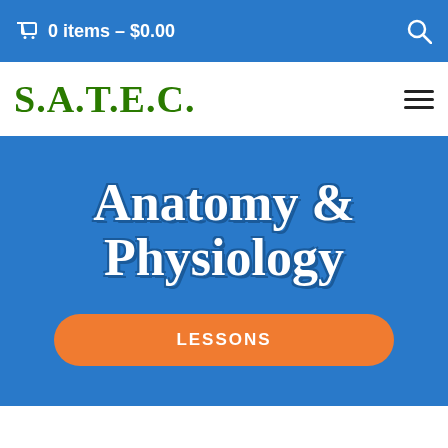🛒 0 items – $0.00
S.A.T.E.C.
Anatomy & Physiology
LESSONS